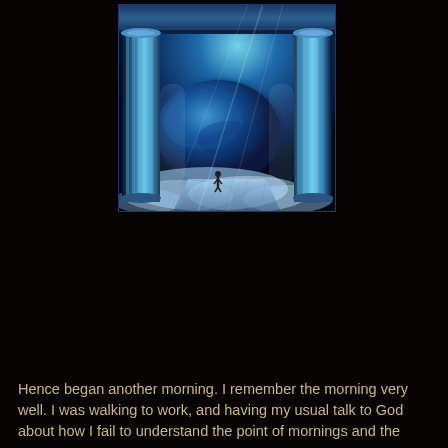[Figure (illustration): Fantasy digital illustration of a grand portal or gate with tall blue marble columns flanking an opening that reveals a vast cosmic scene: a large planet or Earth-like orb visible through swirling blue light and clouds, with a small solitary figure standing on a tiled floor at the threshold, rays of light streaming from upper right.]
Hence began another morning. I remember the morning very well. I was walking to work, and having my usual talk to God about how I fail to understand the point of mornings and the